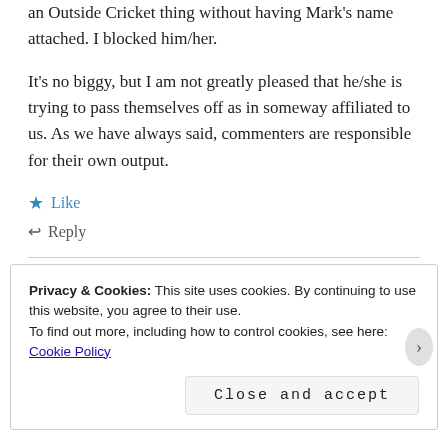an Outside Cricket thing without having Mark's name attached. I blocked him/her.
It's no biggy, but I am not greatly pleased that he/she is trying to pass themselves off as in someway affiliated to us. As we have always said, commenters are responsible for their own output.
★ Like
↩ Reply
Privacy & Cookies: This site uses cookies. By continuing to use this website, you agree to their use.
To find out more, including how to control cookies, see here: Cookie Policy
Close and accept